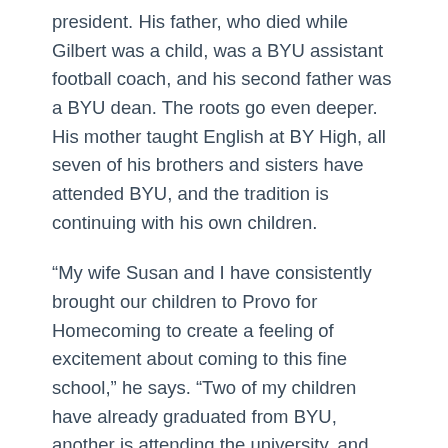president. His father, who died while Gilbert was a child, was a BYU assistant football coach, and his second father was a BYU dean. The roots go even deeper. His mother taught English at BY High, all seven of his brothers and sisters have attended BYU, and the tradition is continuing with his own children.
“My wife Susan and I have consistently brought our children to Provo for Homecoming to create a feeling of excitement about coming to this fine school,” he says. “Two of my children have already graduated from BYU, another is attending the university, and my last child, a senior in high school, plans to attend BYU.